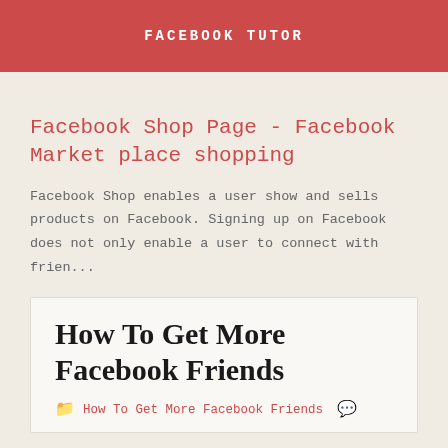FACEBOOK TUTOR
Facebook Shop Page - Facebook Market place shopping
Facebook Shop enables a user show and sells products on Facebook. Signing up on Facebook does not only enable a user to connect with frien...
How To Get More Facebook Friends
How To Get More Facebook Friends